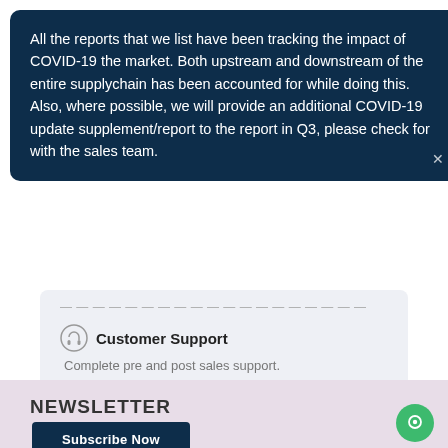All the reports that we list have been tracking the impact of COVID-19 the market. Both upstream and downstream of the entire supplychain has been accounted for while doing this. Also, where possible, we will provide an additional COVID-19 update supplement/report to the report in Q3, please check for with the sales team.
Customer Support
Complete pre and post sales support.
Safe & Secure
Complete secure payment process.
NEWSLETTER
Subscribe Now